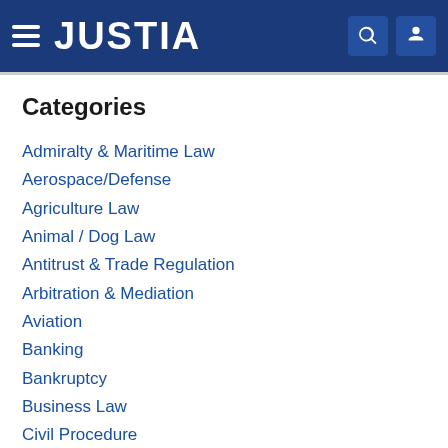JUSTIA
Categories
Admiralty & Maritime Law
Aerospace/Defense
Agriculture Law
Animal / Dog Law
Antitrust & Trade Regulation
Arbitration & Mediation
Aviation
Banking
Bankruptcy
Business Law
Civil Procedure
Civil Rights
Class Action
Commercial Law
Communications Law
Constitutional Law